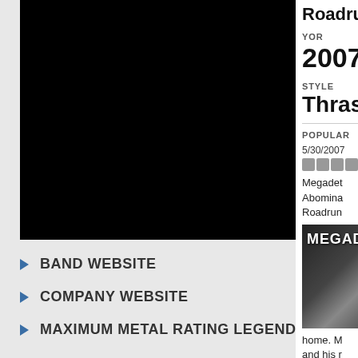[Figure (screenshot): Black video player embed area]
BAND WEBSITE
COMPANY WEBSITE
MAXIMUM METAL RATING LEGEND
Roadrun
YOR
2007
STYLE
Thrash
POPULAR
5/30/2007
[Figure (photo): Megadeth album cover thumbnail showing MEGAD text]
Megadet Abomina Roadrun
home. M and his r